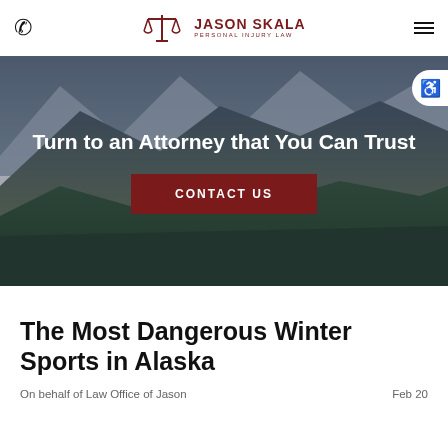Jason Skala Personal Injury Law — navigation bar with phone icon, logo, and hamburger menu
[Figure (photo): Alaska mountain landscape with river valley and overcast sky, used as hero background image]
Turn to an Attorney that You Can Trust
CONTACT US
The Most Dangerous Winter Sports in Alaska
On behalf of Law Office of Jason                    Feb 20